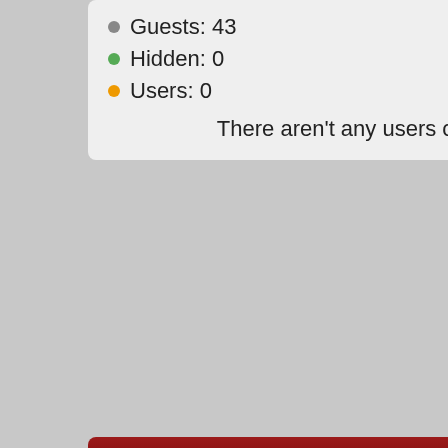Guests: 43
Hidden: 0
Users: 0
There aren't any users online.
Top Posters
cosworth151
15892 Posts
Scott
14050 Posts
Dare
12772 Posts
John S
10894 Posts
Ian
9724 Posts
Grosjean
Started by lkjohn
Dan Gurney Lo
Started by lkjohn
Toronto Indy 2
Started by Jerico
The Great Indy
Started by lkjohn